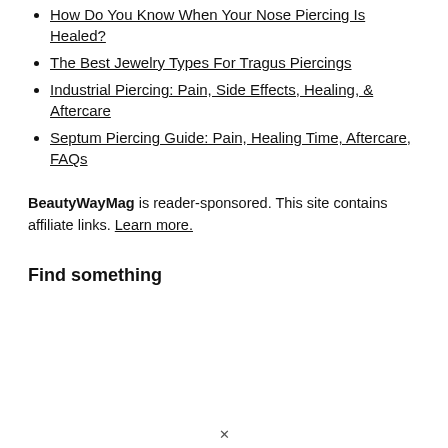How Do You Know When Your Nose Piercing Is Healed?
The Best Jewelry Types For Tragus Piercings
Industrial Piercing: Pain, Side Effects, Healing, & Aftercare
Septum Piercing Guide: Pain, Healing Time, Aftercare, FAQs
BeautyWayMag is reader-sponsored. This site contains affiliate links. Learn more.
Find something